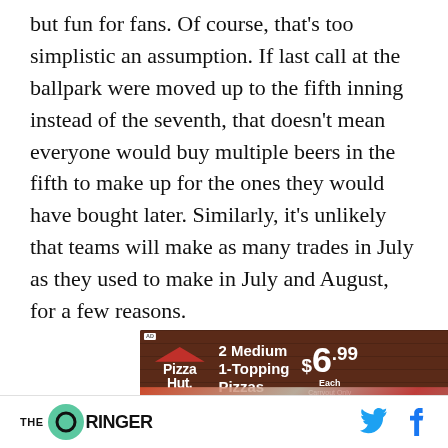but fun for fans. Of course, that's too simplistic an assumption. If last call at the ballpark were moved up to the fifth inning instead of the seventh, that doesn't mean everyone would buy multiple beers in the fifth to make up for the ones they would have bought later. Similarly, it's unlikely that teams will make as many trades in July as they used to make in July and August, for a few reasons.
[Figure (other): Pizza Hut advertisement: '2 Medium 1-Topping Pizzas $6.99 Each Carryout Only' on dark brick background with Pizza Hut logo]
THE RINGER (logo) | Twitter and Facebook icons